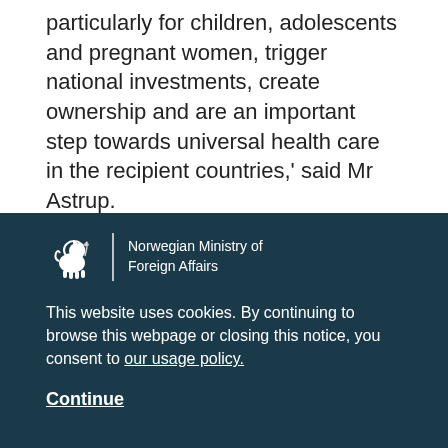particularly for children, adolescents and pregnant women, trigger national investments, create ownership and are an important step towards universal health care in the recipient countries,' said Mr Astrup.
Among the aims of the Sustainable Development Agenda is to end preventable maternal and child
[Figure (logo): Norwegian Ministry of Foreign Affairs logo with lion emblem and vertical divider]
This website uses cookies. By continuing to browse this webpage or closing this notice, you consent to our usage policy.
Continue